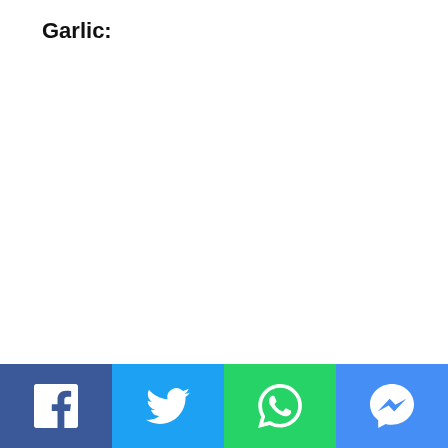Garlic:
[Figure (other): Social media share buttons: Facebook, Twitter, WhatsApp, Messenger in a bottom bar]